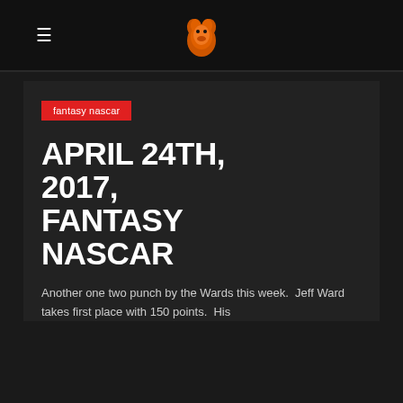≡ [logo]
fantasy nascar
APRIL 24TH, 2017, FANTASY NASCAR
Another one two punch by the Wards this week.  Jeff Ward takes first place with 150 points.  His